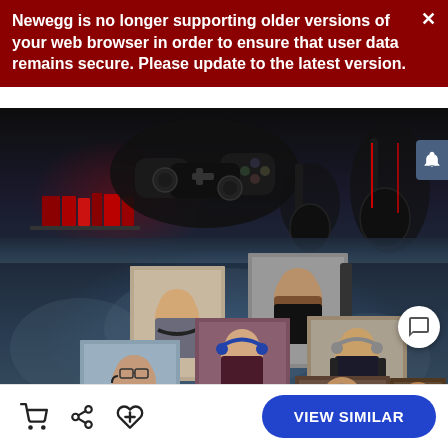Newegg is no longer supporting older versions of your web browser in order to ensure that user data remains secure. Please update to the latest version.
[Figure (screenshot): Newegg website screenshot showing a gaming-themed hero banner with gaming controllers and headsets at top, and a collage of six people wearing gaming headsets below, against a dark atmospheric background.]
VIEW SIMILAR